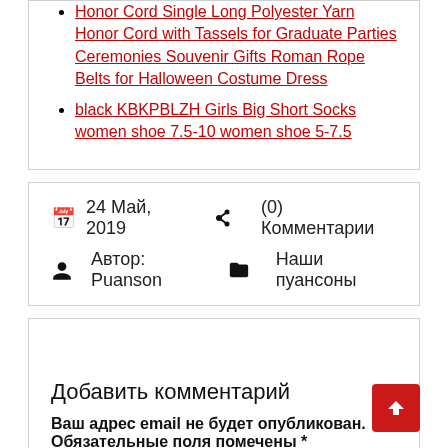Honor Cord Single Long Polyester Yarn Honor Cord with Tassels for Graduate Parties Ceremonies Souvenir Gifts Roman Rope Belts for Halloween Costume Dress
black KBKPBLZH Girls Big Short Socks women shoe 7.5-10 women shoe 5-7.5
24 Май, 2019   (0) Комментарии   Автор: Puanson   Наши пуансоны
Добавить комментарий
Ваш адрес email не будет опубликован. Обязательные поля помечены *
Комментарий *